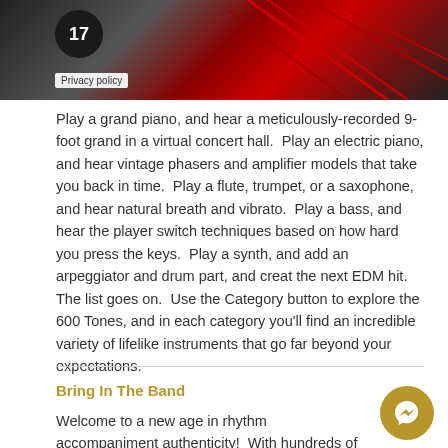[Figure (photo): Dark red and black themed banner image with a circular badge showing '17' and a 'Privacy policy' label overlay. Red diagonal lines on a dark background.]
Play a grand piano, and hear a meticulously-recorded 9-foot grand in a virtual concert hall.  Play an electric piano, and hear vintage phasers and amplifier models that take you back in time.  Play a flute, trumpet, or a saxophone, and hear natural breath and vibrato.  Play a bass, and hear the player switch techniques based on how hard you press the keys.  Play a synth, and add an arpeggiator and drum part, and creat the next EDM hit.  The list goes on.  Use the Category button to explore the 600 Tones, and in each category you'll find an incredible variety of lifelike instruments that go far beyond your expectations.
Bring In The Band
Welcome to a new age in rhythm accompaniment authenticity!  With hundreds of built-in Rhythms, you'll always have a band ready to jam.  The variety of